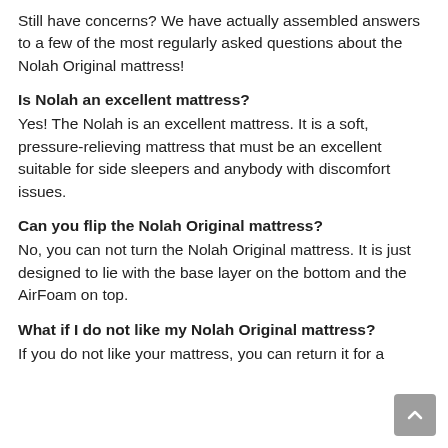Still have concerns? We have actually assembled answers to a few of the most regularly asked questions about the Nolah Original mattress!
Is Nolah an excellent mattress?
Yes! The Nolah is an excellent mattress. It is a soft, pressure-relieving mattress that must be an excellent suitable for side sleepers and anybody with discomfort issues.
Can you flip the Nolah Original mattress?
No, you can not turn the Nolah Original mattress. It is just designed to lie with the base layer on the bottom and the AirFoam on top.
What if I do not like my Nolah Original mattress?
If you do not like your mattress, you can return it for a